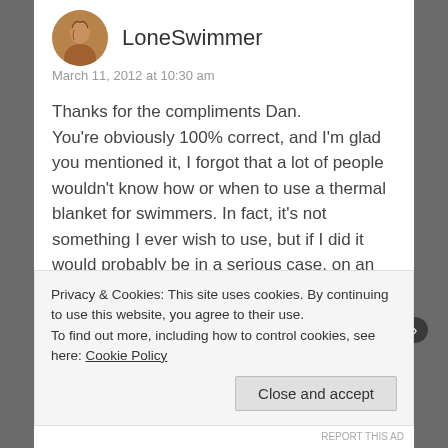LoneSwimmer
March 11, 2012 at 10:30 am
Thanks for the compliments Dan.
You’re obviously 100% correct, and I’m glad you mentioned it, I forgot that a lot of people wouldn’t know how or when to use a thermal blanket for swimmers. In fact, it’s not something I ever wish to use, but if I did it would probably be in a serious case, on an already covered person, possibly while awaiting EMS.
I’m going to look into those bags, they sound like an ideal safety/backup option for both the
Privacy & Cookies: This site uses cookies. By continuing to use this website, you agree to their use.
To find out more, including how to control cookies, see here: Cookie Policy
Close and accept